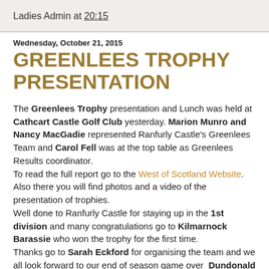Ladies Admin at 20:15
Wednesday, October 21, 2015
GREENLEES TROPHY PRESENTATION
The Greenlees Trophy presentation and Lunch was held at Cathcart Castle Golf Club yesterday. Marion Munro and Nancy MacGadie represented Ranfurly Castle's Greenlees Team and Carol Fell was at the top table as Greenlees Results coordinator.
To read the full report go to the West of Scotland Website. Also there you will find photos and a video of the presentation of trophies.
Well done to Ranfurly Castle for staying up in the 1st division and many congratulations go to Kilmarnock Barassie who won the trophy for the first time.
Thanks go to Sarah Eckford for organising the team and we all look forward to our end of season game over Dundonald Golf Course this Friday 23rd October.